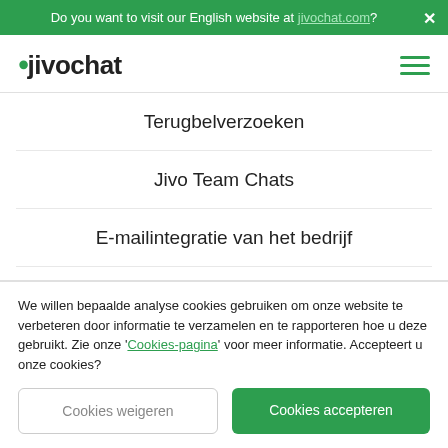Do you want to visit our English website at jivochat.com?
[Figure (logo): JivoChat logo with green dot and hamburger menu icon]
Terugbelverzoeken
Jivo Team Chats
E-mailintegratie van het bedrijf
Chatbots
We willen bepaalde analyse cookies gebruiken om onze website te verbeteren door informatie te verzamelen en te rapporteren hoe u deze gebruikt. Zie onze 'Cookies-pagina' voor meer informatie. Accepteert u onze cookies?
Cookies weigeren
Cookies accepteren